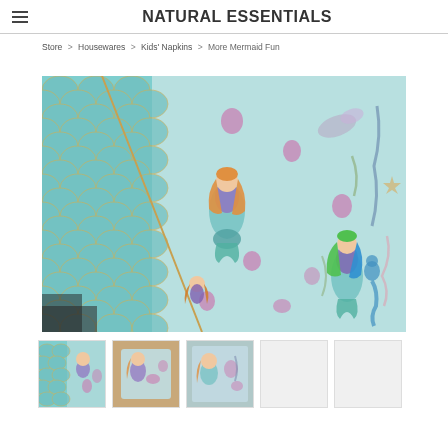NATURAL ESSENTIALS
Store > Housewares > Kids' Napkins > More Mermaid Fun
[Figure (photo): Close-up photo of mermaid-themed fabric napkins with colorful illustrated mermaids, seahorses, and seashells on a light aqua background with fish scale pattern on left side.]
[Figure (photo): Thumbnail 1: mermaid napkin fabric spread out showing mermaid illustrations]
[Figure (photo): Thumbnail 2: mermaid napkin folded in a square showing design]
[Figure (photo): Thumbnail 3: mermaid napkin showing front cover]
[Figure (photo): Thumbnail 4: blank/empty thumbnail]
[Figure (photo): Thumbnail 5: blank/empty thumbnail]